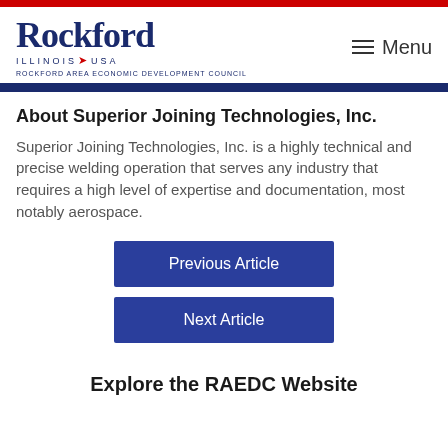[Figure (logo): Rockford Illinois USA logo with RAEDC text]
Menu
About Superior Joining Technologies, Inc.
Superior Joining Technologies, Inc. is a highly technical and precise welding operation that serves any industry that requires a high level of expertise and documentation, most notably aerospace.
Previous Article
Next Article
Explore the RAEDC Website